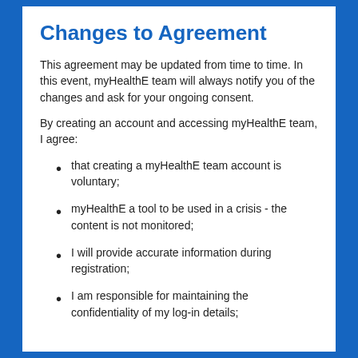Changes to Agreement
This agreement may be updated from time to time. In this event, myHealthE team will always notify you of the changes and ask for your ongoing consent.
By creating an account and accessing myHealthE team, I agree:
that creating a myHealthE team account is voluntary;
myHealthE a tool to be used in a crisis - the content is not monitored;
I will provide accurate information during registration;
I am responsible for maintaining the confidentiality of my log-in details;